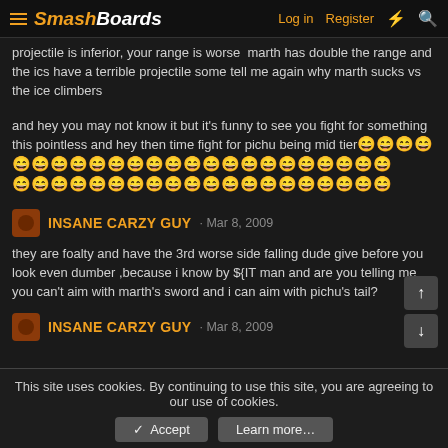SmashBoards — Log in | Register
projectile is inferior, your range is worse  marth has double the range and the ics have a terrible projectile some tell me again why marth sucks vs the ice climbers
and hey you may not know it but it's funny to see you fight for something this pointless and hey then time fight for pichu being mid tier😄😄😄😄😄😄😄😄😄😄😄😄😄😄😄😄😄😄😄😄😄😄😄😄😄😄😄😄😄😄😄😄😄😄😄😄😄😄😄😄
INSANE CARZY GUY · Mar 8, 2009
they are foalty and have the 3rd worse side falling dude give before you look even dumber ,because i know by ${IT man and are you telling me you can't aim with marth's sword and i can aim with pichu's tail?
INSANE CARZY GUY · Mar 8, 2009
This site uses cookies. By continuing to use this site, you are agreeing to our use of cookies.